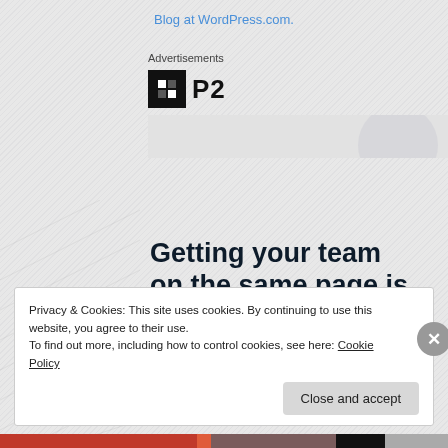Blog at WordPress.com.
Advertisements
[Figure (logo): P2 logo: black square icon with white grid mark, followed by bold text 'P2']
[Figure (illustration): WordPress P2 advertisement with bold tagline: Getting your team on the same page is easy.]
Privacy & Cookies: This site uses cookies. By continuing to use this website, you agree to their use.
To find out more, including how to control cookies, see here: Cookie Policy
Close and accept